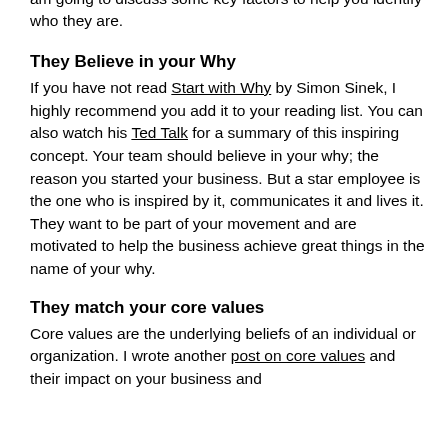am going to discuss some key factors to help you identify who they are.
They Believe in your Why
If you have not read Start with Why by Simon Sinek, I highly recommend you add it to your reading list. You can also watch his Ted Talk for a summary of this inspiring concept. Your team should believe in your why; the reason you started your business. But a star employee is the one who is inspired by it, communicates it and lives it. They want to be part of your movement and are motivated to help the business achieve great things in the name of your why.
They match your core values
Core values are the underlying beliefs of an individual or organization. I wrote another post on core values and their impact on your business and